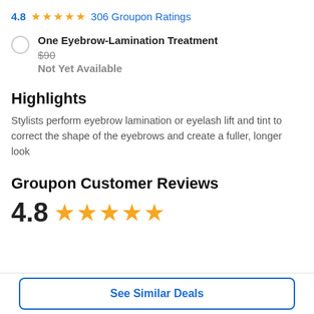4.8 ★★★★★ 306 Groupon Ratings
One Eyebrow-Lamination Treatment $90 Not Yet Available
Highlights
Stylists perform eyebrow lamination or eyelash lift and tint to correct the shape of the eyebrows and create a fuller, longer look
Groupon Customer Reviews
4.8 ★★★★★
See Similar Deals